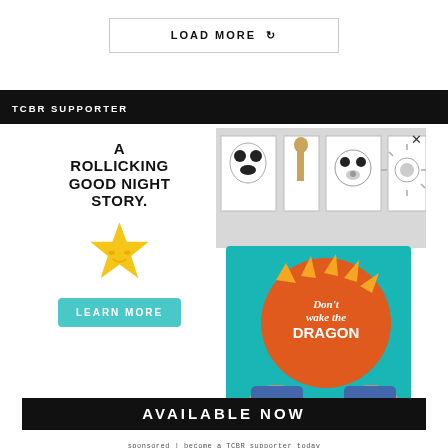LOAD MORE ↺
TCBR SUPPORTER
[Figure (illustration): Advertisement for children's book 'Don't Wake the Dragon'. Left side shows bold text 'A ROLLICKING GOOD NIGHT STORY.' with a yellow smiling star illustration and a teal 'LEARN MORE' button. Right side shows an image of the book cover being held up, with wall art panels in the background. Bottom bar reads 'AVAILABLE NOW' in white on black.]
sponsored | become a TCBR supporter today